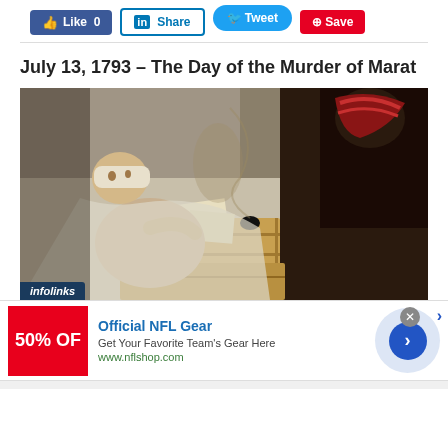[Figure (other): Social media sharing buttons: Like 0 (Facebook), Share (LinkedIn), Tweet (Twitter), Save (Pinterest)]
July 13, 1793 – The Day of the Murder of Marat
[Figure (photo): Painting depicting the Death of Marat — Jean-Paul Marat shown slumped in his bath, half-naked with a head wrap, holding a letter, with papers and an inkwell on a wooden box beside him. Dark dramatic background with a figure in red and dark robes visible at top right.]
[Figure (other): Advertisement banner: Official NFL Gear — Get Your Favorite Team's Gear Here — www.nflshop.com — with red box showing '50% OF' text, a navigation arrow circle, and a close button.]